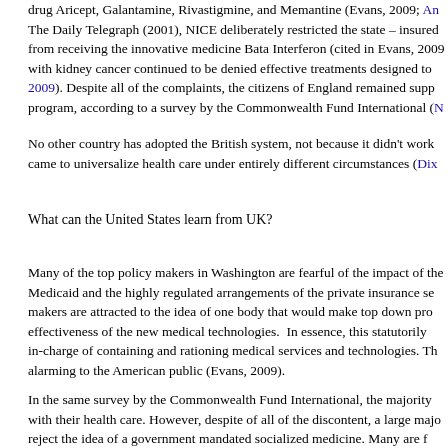drug Aricept, Galantamine, Rivastigmine, and Memantine (Evans, 2009; [link]. The Daily Telegraph (2001), NICE deliberately restricted the state – insured from receiving the innovative medicine Bata Interferon (cited in Evans, 2009 with kidney cancer continued to be denied effective treatments designed to [link] 2009). Despite all of the complaints, the citizens of England remained supp program, according to a survey by the Commonwealth Fund International ([link]
No other country has adopted the British system, not because it didn't work came to universalize health care under entirely different circumstances (Dix...
What can the United States learn from UK?
Many of the top policy makers in Washington are fearful of the impact of the Medicaid and the highly regulated arrangements of the private insurance se makers are attracted to the idea of one body that would make top down pro effectiveness of the new medical technologies.  In essence, this statutorily in-charge of containing and rationing medical services and technologies. Th alarming to the American public (Evans, 2009).
In the same survey by the Commonwealth Fund International, the majority with their health care. However, despite of all of the discontent, a large majo reject the idea of a government mandated socialized medicine. Many are f...